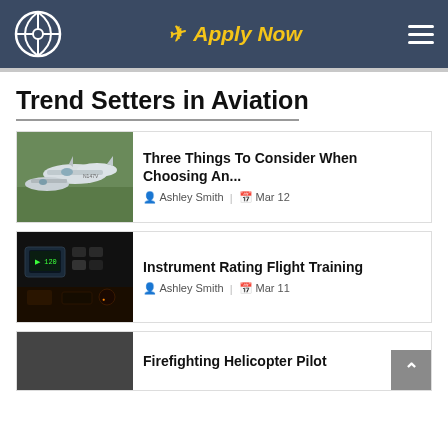Apply Now
Trend Setters in Aviation
[Figure (photo): Multiple white small aircraft parked on grass airfield]
Three Things To Consider When Choosing An...
Ashley Smith | Mar 12
[Figure (photo): Cockpit instrument panel with glowing screens and controls in dark lighting]
Instrument Rating Flight Training
Ashley Smith | Mar 11
Firefighting Helicopter Pilot